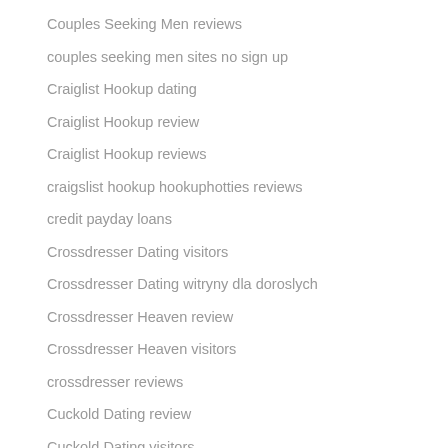Couples Seeking Men reviews
couples seeking men sites no sign up
Craiglist Hookup dating
Craiglist Hookup review
Craiglist Hookup reviews
craigslist hookup hookuphotties reviews
credit payday loans
Crossdresser Dating visitors
Crossdresser Dating witryny dla doroslych
Crossdresser Heaven review
Crossdresser Heaven visitors
crossdresser reviews
Cuckold Dating review
Cuckold Dating visitors
cuckold-dating-de visitors